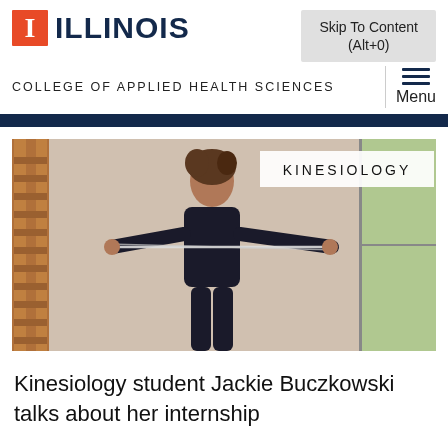Skip To Content (Alt+0)
[Figure (logo): University of Illinois logo with orange block I and ILLINOIS wordmark]
COLLEGE OF APPLIED HEALTH SCIENCES
Menu
[Figure (photo): A female kinesiology student in black athletic wear using resistance bands in a gym with wooden wall bars (Swedish ladder) on the left and a large window on the right. A white badge overlay reads KINESIOLOGY.]
Kinesiology student Jackie Buczkowski talks about her internship